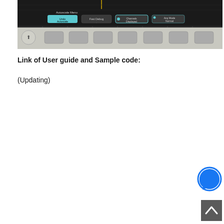[Figure (screenshot): Screenshot of an oscilloscope Autoscale Menu interface showing buttons: Undo Autoscale, Fast Debug, Channels Displayed, Acq Mode Normal. Below the menu are several grey hardware buttons on the oscilloscope front panel.]
Link of User guide and Sample code:
(Updating)
[Figure (logo): Facebook Messenger icon — blue circle with white lightning bolt chat bubble]
[Figure (other): Back to top button — dark grey square with white upward-pointing chevron arrow]